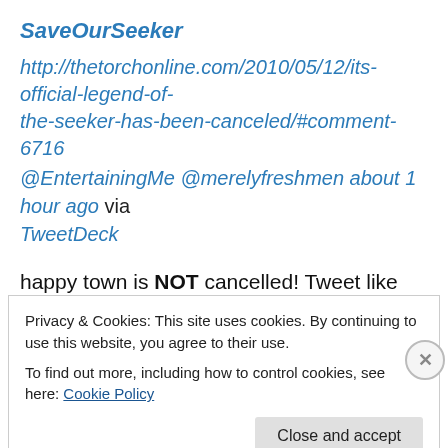SaveOurSeeker
http://thetorchonline.com/2010/05/12/its-official-legend-of-the-seeker-has-been-canceled/#comment-6716 @EntertainingMe @merelyfreshmen about 1 hour ago via TweetDeck
happy town is NOT cancelled! Tweet like the wind!
HappyTownTV
News @geoffstults mentioned before, just confirmed by
Privacy & Cookies: This site uses cookies. By continuing to use this website, you agree to their use.
To find out more, including how to control cookies, see here: Cookie Policy